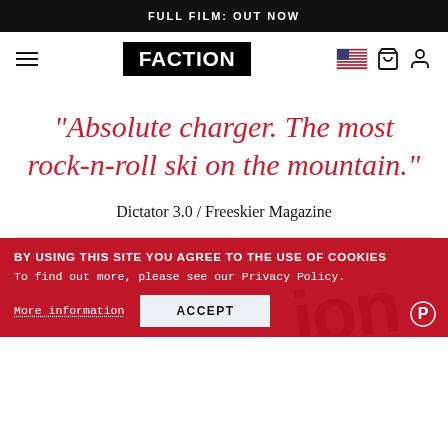FULL FILM: OUT NOW
[Figure (logo): Faction Skis navigation bar with hamburger menu, FACTION logo in black box, US flag icon, cart icon, and user icon]
"Absolute charger. The most rock-n-roll ski on the mountain."
Dictator 3.0 / Freeskier Magazine
BY USING THIS SITE YOU AGREE TO THE USE OF COOKIES
To find out more, please see our Privacy Policy.
More information
ACCEPT